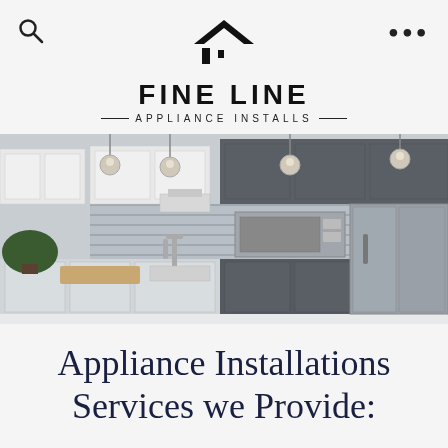[Figure (logo): Fine Line Appliance Installs logo with diamond/chevron shape above the text FINE LINE and APPLIANCE INSTALLS tagline]
[Figure (photo): Modern kitchen interior with white and dark gray cabinets, stainless steel appliances including a refrigerator and microwave, pendant lights, and a kitchen island with white countertop in the foreground]
Appliance Installations Services we Provide: